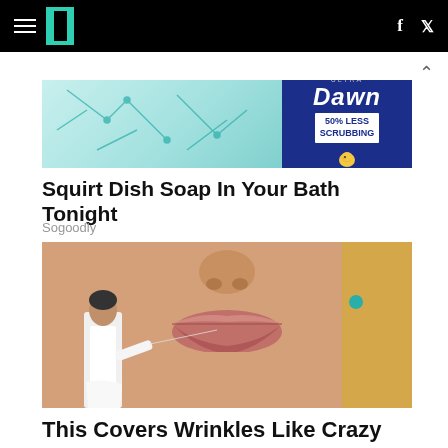HuffPost navigation bar with hamburger menu, logo, facebook and twitter icons
[Figure (photo): Advertisement banner for Dawn dish soap with teal/blue design showing '50% Less Scrubbing' badge]
Squirt Dish Soap In Your Bath Tonight
Sogoodly
[Figure (photo): Close-up photo of a woman's face focusing on lips, with a small man in white coat appearing to treat the skin near her mouth]
This Covers Wrinkles Like Crazy (Try Tonight)